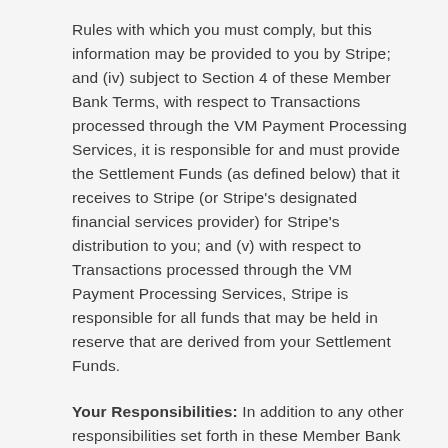Rules with which you must comply, but this information may be provided to you by Stripe; and (iv) subject to Section 4 of these Member Bank Terms, with respect to Transactions processed through the VM Payment Processing Services, it is responsible for and must provide the Settlement Funds (as defined below) that it receives to Stripe (or Stripe's designated financial services provider) for Stripe's distribution to you; and (v) with respect to Transactions processed through the VM Payment Processing Services, Stripe is responsible for all funds that may be held in reserve that are derived from your Settlement Funds.
Your Responsibilities: In addition to any other responsibilities set forth in these Member Bank Terms, you agree that, at all times throughout the term of these Member Bank Terms, you will (i) comply with the PCI Standards in using and maintaining Payment Account Details; (ii) maintain fraud and Dispute rates